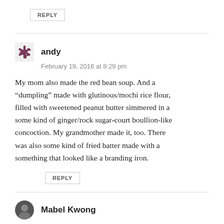REPLY
andy
February 19, 2016 at 8:29 pm
My mom also made the red bean soup. And a “dumpling” made with glutinous/mochi rice flour, filled with sweetened peanut butter simmered in a some kind of ginger/rock sugar-court boullion-like concoction. My grandmother made it, too. There was also some kind of fried batter made with a something that looked like a branding iron.
REPLY
Mabel Kwong